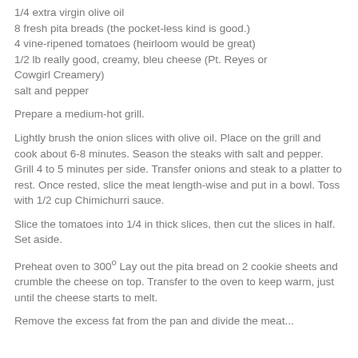1/4 extra virgin olive oil
8 fresh pita breads (the pocket-less kind is good.)
4 vine-ripened tomatoes (heirloom would be great)
1/2 lb really good, creamy, bleu cheese (Pt. Reyes or Cowgirl Creamery)
salt and pepper
Prepare a medium-hot grill.
Lightly brush the onion slices with olive oil. Place on the grill and cook about 6-8 minutes. Season the steaks with salt and pepper. Grill 4 to 5 minutes per side. Transfer onions and steak to a platter to rest. Once rested, slice the meat length-wise and put in a bowl. Toss with 1/2 cup Chimichurri sauce.
Slice the tomatoes into 1/4 in thick slices, then cut the slices in half. Set aside.
Preheat oven to 300º Lay out the pita bread on 2 cookie sheets and crumble the cheese on top. Transfer to the oven to keep warm, just until the cheese starts to melt.
Remove the excess fat from the pan and divide the meat...